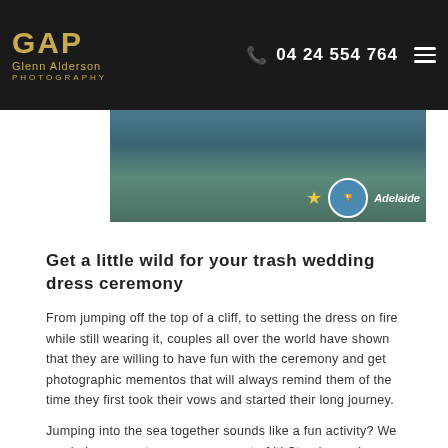Glenn Alderson Photography — 04 24 554 764
[Figure (photo): Banner photo showing a couple in water, with wedding-related badge and star overlay, and 'Adelaide' text]
Get a little wild for your trash wedding dress ceremony
From jumping off the top of a cliff, to setting the dress on fire while still wearing it, couples all over the world have shown that they are willing to have fun with the ceremony and get photographic mementos that will always remind them of the time they first took their vows and started their long journey.
Jumping into the sea together sounds like a fun activity? We can help you capture every moment of it! Stand arms in arms, feet soaked in the briny waters of the ocean, your wedding dress soaked with the sea